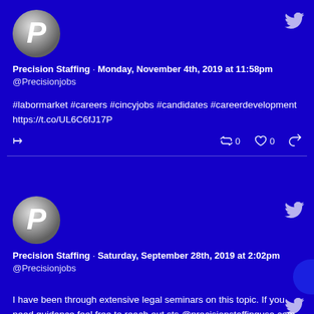[Figure (screenshot): Precision Staffing Twitter profile avatar - silver letter P on blue circle background]
Precision Staffing · Monday, November 4th, 2019 at 11:58pm
@Precisionjobs
#labormarket #careers #cincyjobs #candidates #careerdevelopment https://t.co/UL6C6fJ17P
[Figure (screenshot): Precision Staffing Twitter profile avatar - silver letter P on blue circle background]
Precision Staffing · Saturday, September 28th, 2019 at 2:02pm
@Precisionjobs
I have been through extensive legal seminars on this topic. If you need guidance feel free to reach out sts @precisionstaffingusa.com https://t.co/Gw1zebTAdf